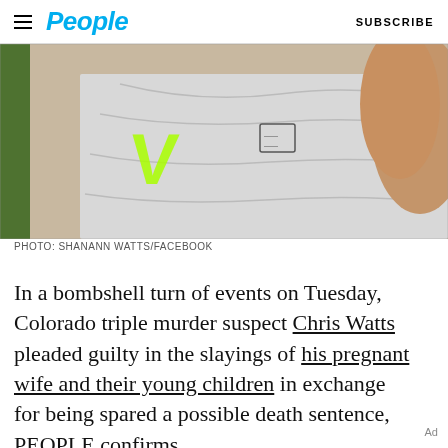People | SUBSCRIBE
[Figure (photo): Close-up photo of a person in a grey t-shirt with green background visible]
PHOTO: SHANANN WATTS/FACEBOOK
In a bombshell turn of events on Tuesday, Colorado triple murder suspect Chris Watts pleaded guilty in the slayings of his pregnant wife and their young children in exchange for being spared a possible death sentence, PEOPLE confirms.